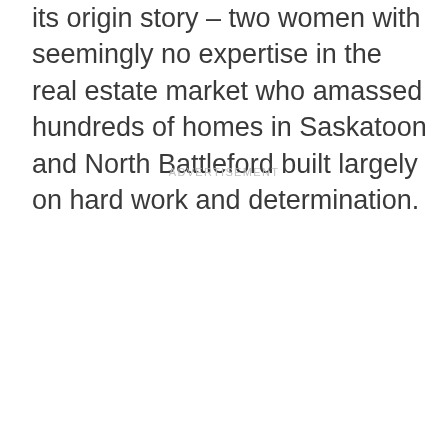its origin story – two women with seemingly no expertise in the real estate market who amassed hundreds of homes in Saskatoon and North Battleford built largely on hard work and determination.
ADVERTISEMENT